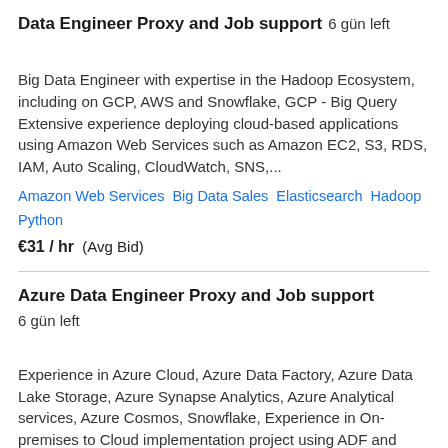Data Engineer Proxy and Job support  6 gün left
Big Data Engineer with expertise in the Hadoop Ecosystem, including on GCP, AWS and Snowflake, GCP - Big Query Extensive experience deploying cloud-based applications using Amazon Web Services such as Amazon EC2, S3, RDS, IAM, Auto Scaling, CloudWatch, SNS,...
Amazon Web Services   Big Data Sales   Elasticsearch   Hadoop   Python
€31 / hr  (Avg Bid)
Azure Data Engineer Proxy and Job support  6 gün left
Experience in Azure Cloud, Azure Data Factory, Azure Data Lake Storage, Azure Synapse Analytics, Azure Analytical services, Azure Cosmos, Snowflake, Experience in On-premises to Cloud implementation project using ADF and Python scripting for data extraction from relational...
Azure   Cloud Data   Veri Madenciliği   Veritabanı